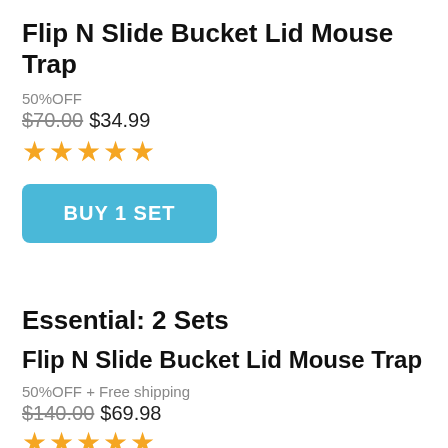Flip N Slide Bucket Lid Mouse Trap
50%OFF
$70.00 $34.99
[Figure (other): Five orange star rating icons]
BUY 1 SET
Essential: 2 Sets
Flip N Slide Bucket Lid Mouse Trap
50%OFF + Free shipping
$140.00 $69.98
[Figure (other): Five orange star rating icons]